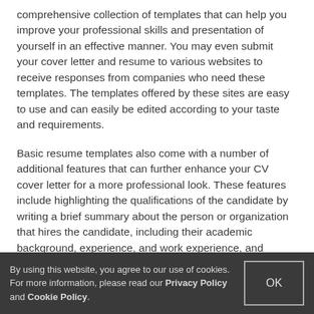comprehensive collection of templates that can help you improve your professional skills and presentation of yourself in an effective manner. You may even submit your cover letter and resume to various websites to receive responses from companies who need these templates. The templates offered by these sites are easy to use and can easily be edited according to your taste and requirements.
Basic resume templates also come with a number of additional features that can further enhance your CV cover letter for a more professional look. These features include highlighting the qualifications of the candidate by writing a brief summary about the person or organization that hires the candidate, including their academic background, experience, and work experience, and highlighting areas of potential interest
By using this website, you agree to our use of cookies. For more information, please read our Privacy Policy and Cookie Policy.